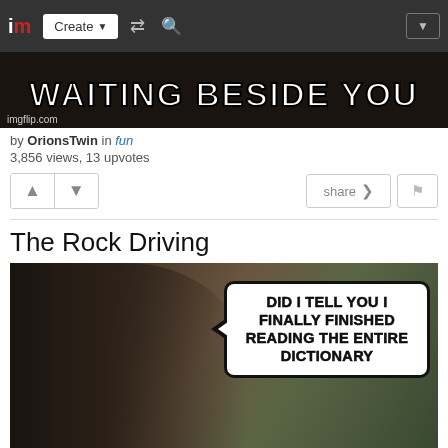[Figure (screenshot): imgflip.com website navigation bar with logo, Create button, shuffle icon, search icon, and dropdown button]
[Figure (photo): Top portion of a meme image showing text 'WAITING BESIDE YOU' in white Impact font with black outline on dark background, with imgflip.com watermark]
by OrionsTwin in fun
3,856 views, 13 upvotes
[Figure (screenshot): Action buttons row: upvote button, downvote button on left; share button and flag button on right]
The Rock Driving
[Figure (photo): Meme image showing a man (The Rock) in a car with a speech bubble saying 'DID I TELL YOU I FINALLY FINISHED READING THE ENTIRE DICTIONARY']
[Figure (photo): Bottom strip of another meme panel beginning with text 'AND NOW EVERY']